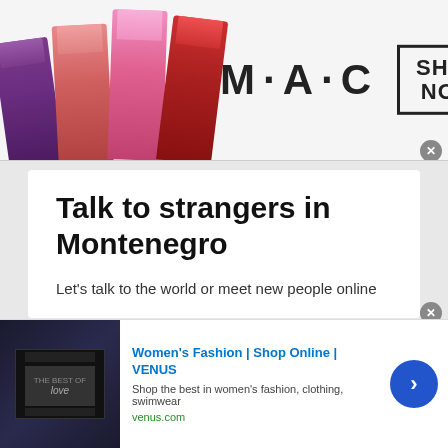[Figure (photo): MAC cosmetics advertisement banner with colorful lipsticks on left, MAC logo in center, and SHOP NOW button in a box on the right]
Talk to strangers in Montenegro
Let's talk to the world or meet new people online
The use of online chat apps and social media apps have spiked throughout the world. Yes, we are living in a pandemic era where everyone needs to be isolated. It's a time when social distancing becomes a necessity for all of us. The nationwide online study
[Figure (screenshot): Back to top arrow button overlay in teal/cyan color]
[Figure (screenshot): Women's Fashion | Shop Online | VENUS advertisement banner — Shop the best in women's fashion, clothing, swimwear — venus.com]